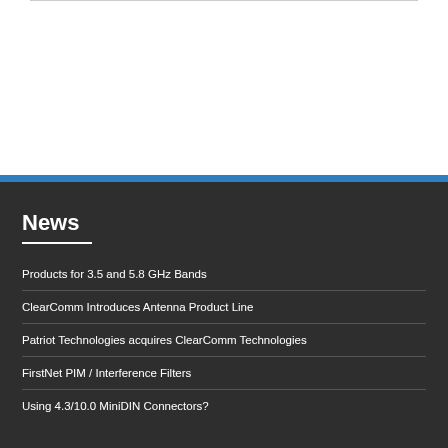News
Products for 3.5 and 5.8 GHz Bands
ClearComm Introduces Antenna Product Line
Patriot Technologies acquires ClearComm Technologies
FirstNet PIM / Interference Filters
Using 4.3/10.0 MiniDIN Connectors?